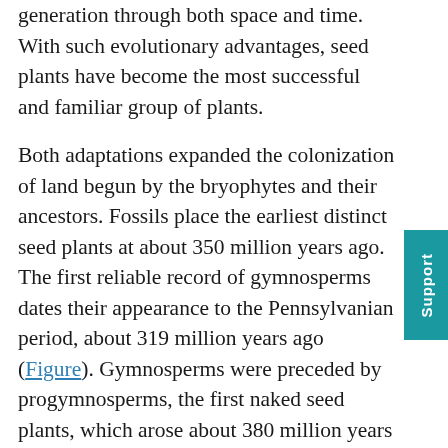generation through both space and time. With such evolutionary advantages, seed plants have become the most successful and familiar group of plants.
Both adaptations expanded the colonization of land begun by the bryophytes and their ancestors. Fossils place the earliest distinct seed plants at about 350 million years ago. The first reliable record of gymnosperms dates their appearance to the Pennsylvanian period, about 319 million years ago (Figure). Gymnosperms were preceded by progymnosperms, the first naked seed plants, which arose about 380 million years ago. Progymnosperms were a transitional group of plants that superficially resembled conifers (cone bearers) because they produced wood from the secondary growth of the vascular tissues; however, they still reproduced like ferns, releasing spores into the environment. At least some species were heterosporous. Progymnosperms, like the extinct